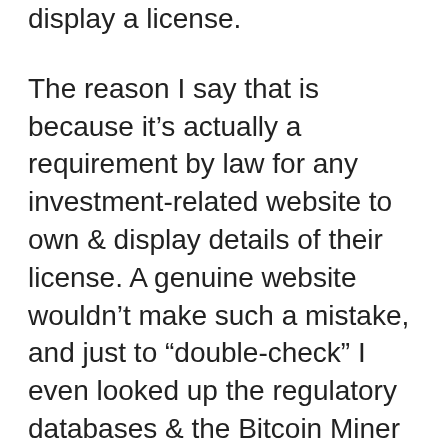display a license.
The reason I say that is because it’s actually a requirement by law for any investment-related website to own & display details of their license. A genuine website wouldn’t make such a mistake, and just to “double-check” I even looked up the regulatory databases & the Bitcoin Miner system isn’t listed.
But there’s the other obvious red-flag which is the fact that the whole thing simply sounds WAY too good to be true. I mean come on, if this thing really worked then nobody would be left working a job, the world would be in crisis...